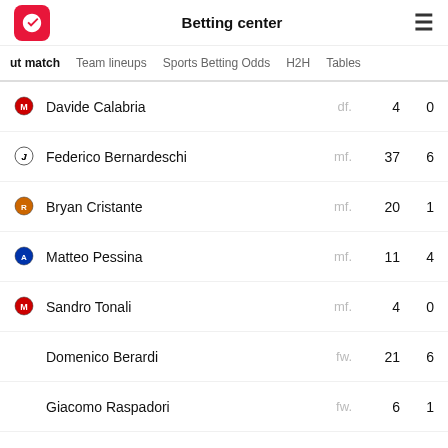Betting center
ut match | Team lineups | Sports Betting Odds | H2H | Tables
|  | Player | Position | Apps | Goals |
| --- | --- | --- | --- | --- |
| AC Milan | Davide Calabria | df. | 4 | 0 |
| Juventus | Federico Bernardeschi | mf. | 37 | 6 |
| Roma | Bryan Cristante | mf. | 20 | 1 |
| Atalanta | Matteo Pessina | mf. | 11 | 4 |
| AC Milan | Sandro Tonali | mf. | 4 | 0 |
|  | Domenico Berardi | fw. | 21 | 6 |
|  | Giacomo Raspadori | fw. | 6 | 1 |
|  | Gianluca Scamacca | fw. | 1 | 0 |
Will not play
|  | Player | Position | Apps | Goals |
| --- | --- | --- | --- | --- |
| Juventus | Giorgio Chiellini | df. | 114 | 8 |
| Lazio | Ciro Immobile | fw. | 54 | 15 |